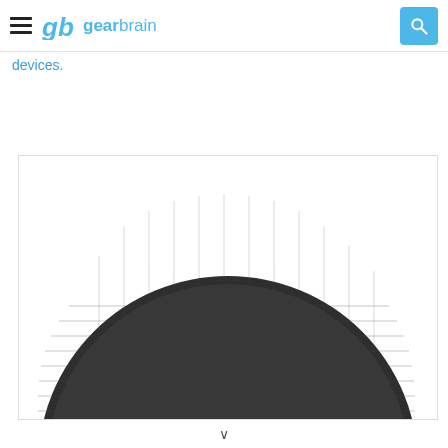gb gearbrain
devices.
[Figure (photo): Top-down view of a dark charcoal fabric-covered smart speaker (Amazon Echo Dot style), showing the rounded dome shape with woven textile surface, positioned within a white bordered container.]